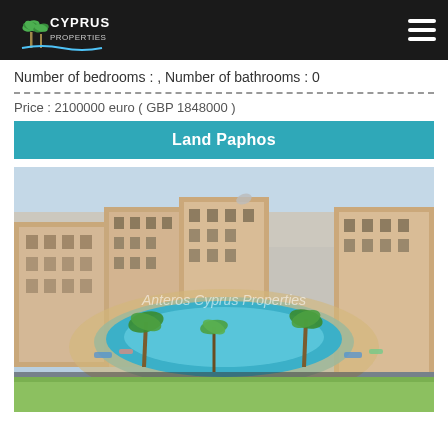Cyprus Properties
Number of bedrooms : , Number of bathrooms : 0
Price : 2100000 euro ( GBP 1848000 )
Land Paphos
[Figure (photo): Aerial/elevated view of a Mediterranean apartment complex with a large swimming pool and resort amenities surrounded by palm trees, with watermark text 'Anteros Cyprus Properties']